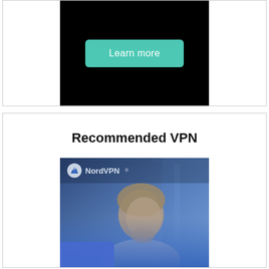[Figure (screenshot): Black banner with a teal 'Learn more' button centered on it]
Recommended VPN
[Figure (photo): NordVPN advertisement image showing a woman looking at a laptop with a blue overlay and the NordVPN logo in white in the upper left]